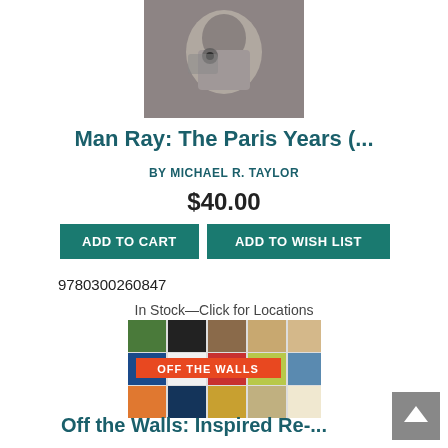[Figure (photo): Black and white book cover photo for Man Ray: The Paris Years — close-up portrait of a man holding something near his face]
Man Ray: The Paris Years (...
BY MICHAEL R. TAYLOR
$40.00
ADD TO CART
ADD TO WISH LIST
9780300260847
In Stock—Click for Locations
[Figure (photo): Book cover for 'Off the Walls' — collage of famous artworks and photographs reimagined in modern settings, with orange banner reading OFF THE WALLS]
Off the Walls: Inspired Re-...